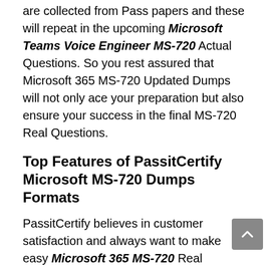are collected from Pass papers and these will repeat in the upcoming Microsoft Teams Voice Engineer MS-720 Actual Questions. So you rest assured that Microsoft 365 MS-720 Updated Dumps will not only ace your preparation but also ensure your success in the final MS-720 Real Questions.
Top Features of PassitCertify Microsoft MS-720 Dumps Formats
PassitCertify believes in customer satisfaction and always want to make easy Microsoft 365 MS-720 Real Questions preparation process. To do this PassitCertify offers Microsoft Teams Voice Engineer MS-720 Actual Dumps in three easy to use and compatible formats. These MS-720 Updated Questions formats are PDF dumps file, desktop practice test software and Web-Based practice test software. All these MS-720